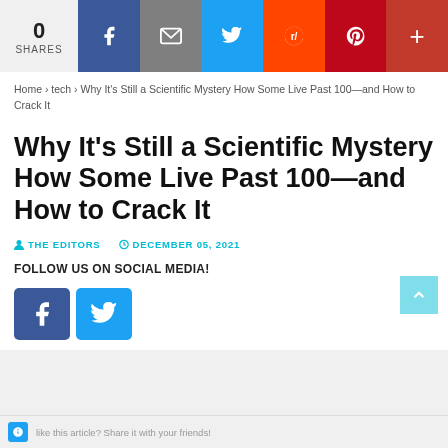[Figure (infographic): Social share bar with count 0, Facebook, Mail, Twitter, Reddit, Pinterest, and plus icons]
Home > tech > Why It's Still a Scientific Mystery How Some Live Past 100—and How to Crack It
Why It's Still a Scientific Mystery How Some Live Past 100—and How to Crack It
THE EDITORS   DECEMBER 05, 2021
FOLLOW US ON SOCIAL MEDIA!
[Figure (infographic): Facebook and Twitter social media buttons]